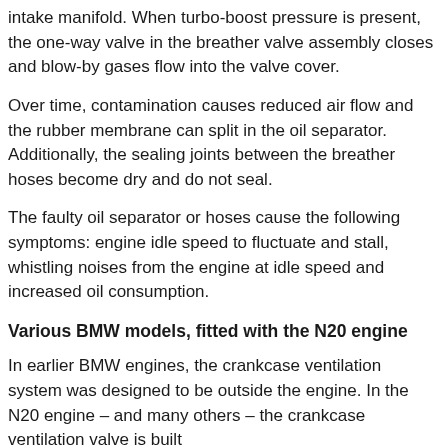intake manifold. When turbo-boost pressure is present, the one-way valve in the breather valve assembly closes and blow-by gases flow into the valve cover.
Over time, contamination causes reduced air flow and the rubber membrane can split in the oil separator. Additionally, the sealing joints between the breather hoses become dry and do not seal.
The faulty oil separator or hoses cause the following symptoms: engine idle speed to fluctuate and stall, whistling noises from the engine at idle speed and increased oil consumption.
Various BMW models, fitted with the N20 engine
In earlier BMW engines, the crankcase ventilation system was designed to be outside the engine. In the N20 engine – and many others – the crankcase ventilation valve is built